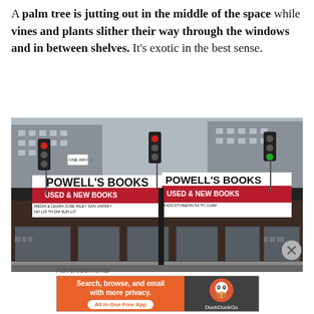A palm tree is jutting out in the middle of the space while vines and plants slither their way through the windows and in between shelves. It's exotic in the best sense.
[Figure (photo): Street-level exterior photo of Powell's Books store with red and white marquee signs reading 'POWELL'S BOOKS USED & NEW BOOKS', traffic lights, and city buildings in background.]
Advertisements
[Figure (screenshot): DuckDuckGo advertisement banner: orange left panel reading 'Search, browse, and email with more privacy. All in One Free App' and dark right panel with DuckDuckGo logo.]